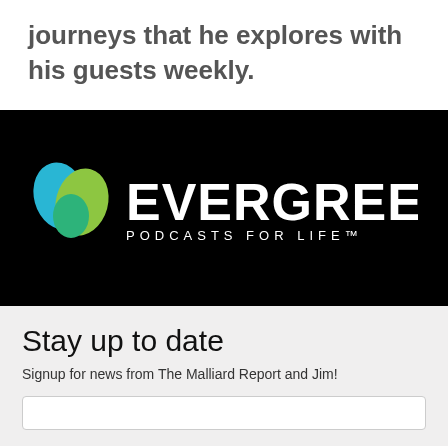journeys that he explores with his guests weekly.
[Figure (logo): Evergreen Podcasts For Life logo: circular icon with blue and green leaf shapes on left, bold white text EVERGREEN on right, with PODCASTS FOR LIFE in spaced letters below on black background]
Stay up to date
Signup for news from The Malliard Report and Jim!